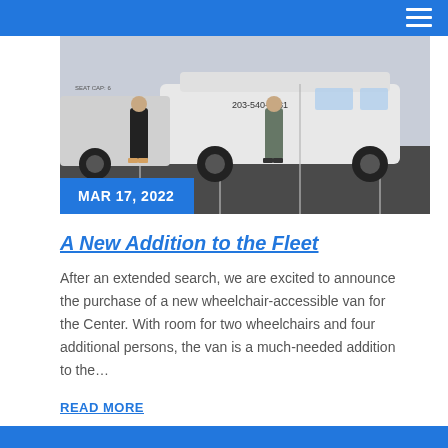[Figure (photo): Photo of two people standing in a parking lot in front of a white wheelchair-accessible van with phone number 203-540-5381 on the side]
MAR 17, 2022
A New Addition to the Fleet
After an extended search, we are excited to announce the purchase of a new wheelchair-accessible van for the Center. With room for two wheelchairs and four additional persons, the van is a much-needed addition to the…
READ MORE